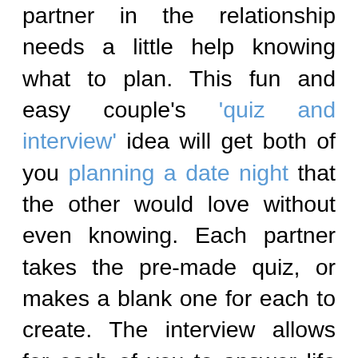partner in the relationship needs a little help knowing what to plan. This fun and easy couple's 'quiz and interview' idea will get both of you planning a date night that the other would love without even knowing. Each partner takes the pre-made quiz, or makes a blank one for each to create. The interview allows for each of you to answer life questions that will also lead you to knowing what your partner wants out of a date night.